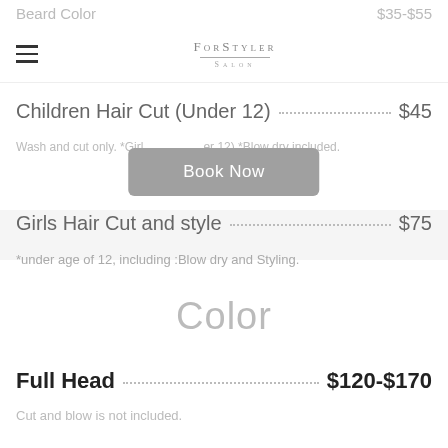Beard Color  $35-$55
[Figure (logo): ForStyler Professional Salon logo with hamburger menu icon]
Children Hair Cut (Under 12) ........................ $45
Wash and cut only. *Girls (under 12) *Blow dry included.
[Figure (other): Book Now button overlay]
Girls Hair Cut and style ........................ $75
*under age of 12, including :Blow dry and Styling.
Color
Full Head ........................ $120-$170
Cut and blow is not included.